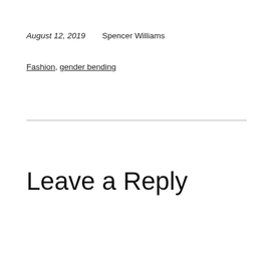August 12, 2019    Spencer Williams
Fashion, gender bending
Leave a Reply